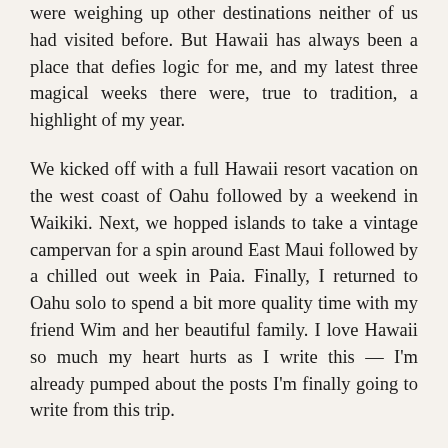were weighing up other destinations neither of us had visited before. But Hawaii has always been a place that defies logic for me, and my latest three magical weeks there were, true to tradition, a highlight of my year.
We kicked off with a full Hawaii resort vacation on the west coast of Oahu followed by a weekend in Waikiki. Next, we hopped islands to take a vintage campervan for a spin around East Maui followed by a chilled out week in Paia. Finally, I returned to Oahu solo to spend a bit more quality time with my friend Wim and her beautiful family. I love Hawaii so much my heart hurts as I write this — I'm already pumped about the posts I'm finally going to write from this trip.